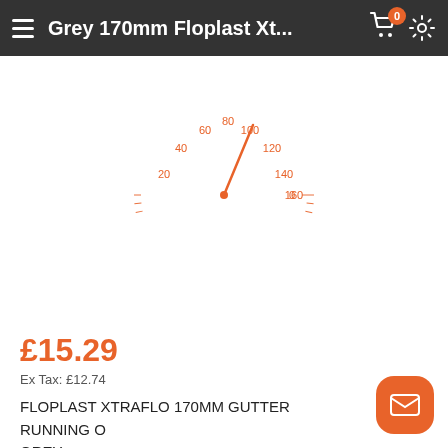Grey 170mm Floplast Xt...
[Figure (other): Orange speedometer/gauge graphic showing scale from 0 to 160, with needle pointing near 100]
£15.29
Ex Tax: £12.74
FLOPLAST XTRAFLO 170MM GUTTER RUNNING O GREY